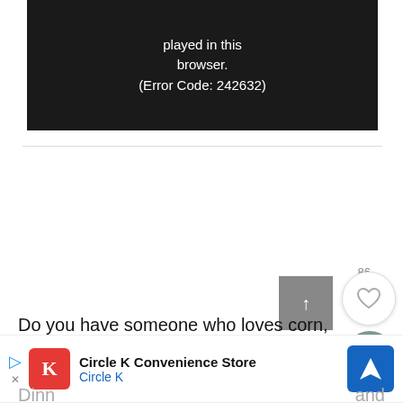[Figure (screenshot): Video player error message on dark background reading 'played in this browser. (Error Code: 242632)']
played in this browser. (Error Code: 242632)
86
Do you have someone who loves corn, but you
have
ay
Dinn
and
[Figure (screenshot): Advertisement banner for Circle K Convenience Store with red logo, play/dismiss buttons, and blue directions arrow icon]